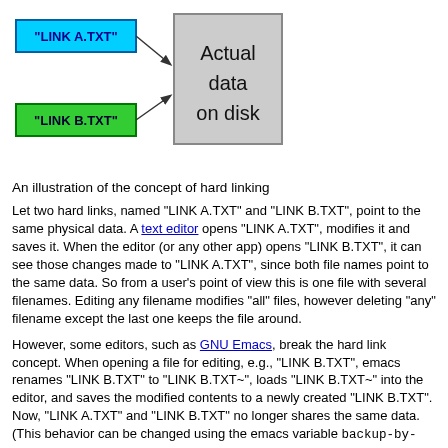[Figure (flowchart): Diagram showing two hard link boxes ('LINK A.TXT' in blue border, 'LINK B.TXT' in green background) with arrows pointing to a gray box labeled 'Actual data on disk'.]
An illustration of the concept of hard linking
Let two hard links, named "LINK A.TXT" and "LINK B.TXT", point to the same physical data. A text editor opens "LINK A.TXT", modifies it and saves it. When the editor (or any other app) opens "LINK B.TXT", it can see those changes made to "LINK A.TXT", since both file names point to the same data. So from a user's point of view this is one file with several filenames. Editing any filename modifies "all" files, however deleting "any" filename except the last one keeps the file around.
However, some editors, such as GNU Emacs, break the hard link concept. When opening a file for editing, e.g., "LINK B.TXT", emacs renames "LINK B.TXT" to "LINK B.TXT~", loads "LINK B.TXT~" into the editor, and saves the modified contents to a newly created "LINK B.TXT". Now, "LINK A.TXT" and "LINK B.TXT" no longer shares the same data. (This behavior can be changed using the emacs variable backup-by-copying.)